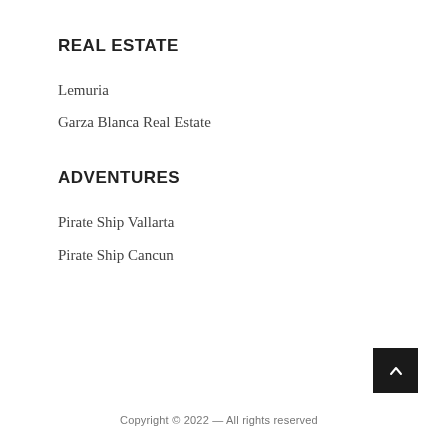REAL ESTATE
Lemuria
Garza Blanca Real Estate
ADVENTURES
Pirate Ship Vallarta
Pirate Ship Cancun
Copyright © 2022 — All rights reserved